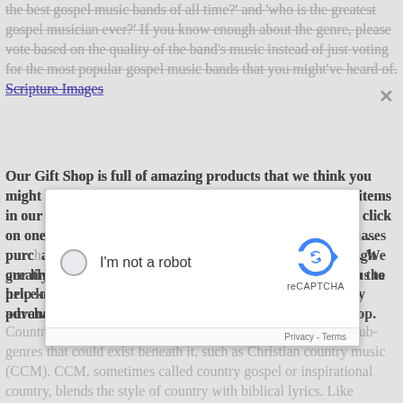the best gospel music bands of all time?' and 'who is the greatest gospel musician ever?' If you know enough about the genre, please vote based on the quality of the band's music instead of just voting for the most popular gospel music bands that you might've heard of. Scripture Images
Our Gift Shop is full of amazing products that we think you might like that compliment many of our wall arts. All the items in our Gift Shop are made by other companies. When you click on one to purchase you will be directed to Amazon, whose purchases are fulfilled by Amazon, must be delivered by Amazon to you, whose purchases through our links. We greatly appreciate that support as it allows us to help keep the price on our wall arts down. Thank you in advance for any purchases you make through our Gift Shop.
[Figure (screenshot): reCAPTCHA dialog box with 'I'm not a robot' checkbox and Google reCAPTCHA logo, Privacy and Terms links at the bottom]
Country music is a wildly popular genre, but there are other sub-genres that could exist beneath it, such as Christian country music (CCM). CCM, sometimes called country gospel or inspirational country, blends the style of country with biblical lyrics. Like country music itself, it is an expansive genre, and no two CCM artists will sound exactly alike. Christian Images